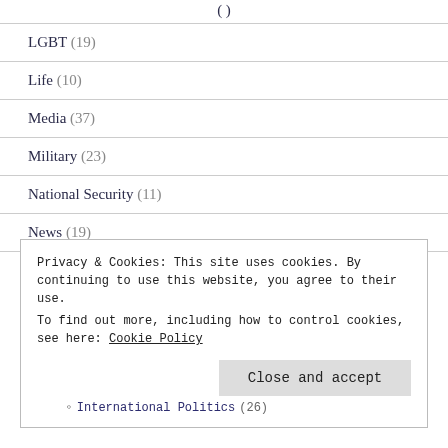LGBT (19)
Life (10)
Media (37)
Military (23)
National Security (11)
News (19)
Not Politics (63)
Privacy & Cookies: This site uses cookies. By continuing to use this website, you agree to their use.
To find out more, including how to control cookies, see here: Cookie Policy
Close and accept
International Politics (26)